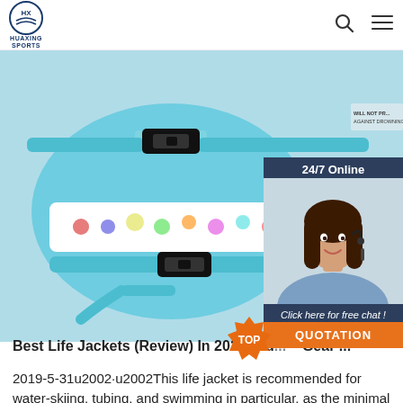HUAXING SPORTS
[Figure (photo): Close-up of a child's blue life jacket with colorful vehicle print, showing black buckle straps and blue webbing fasteners against a light blue background.]
[Figure (photo): 24/7 Online chat widget with a smiling female customer service agent wearing a headset, dark background header, and QUOTATION orange button.]
Best Life Jackets (Review) In 2021 [Bu... – Gear ...
2019-5-31u2002·u2002This life jacket is recommended for water-skiing, tubing, and swimming in particular, as the minimal bulk design means that you can have full mobility and flexibility. Suitable for a vast array of body types, this life vest is the perfect option for water enthusiasts who want to look cool and get on with their tasks to the best of their ability.